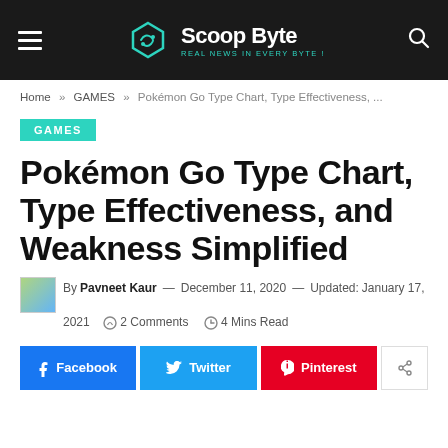Scoop Byte — REAL NEWS IN EVERY BYTE!
Home » GAMES » Pokémon Go Type Chart, Type Effectiveness, ...
GAMES
Pokémon Go Type Chart, Type Effectiveness, and Weakness Simplified
By Pavneet Kaur — December 11, 2020 — Updated: January 17, 2021  2 Comments  4 Mins Read